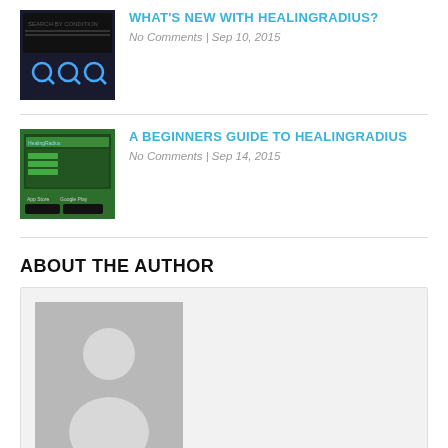[Figure (screenshot): Thumbnail screenshot of HealingRadius website search by condition page with dark background and magnifying glass icons]
WHAT'S NEW WITH HEALINGRADIUS?
No Comments | Sep 10, 2015
[Figure (screenshot): Thumbnail screenshot of HealingRadius app store page with green background showing mobile app]
A BEGINNERS GUIDE TO HEALINGRADIUS
No Comments | Sep 14, 2015
ABOUT THE AUTHOR
[Figure (illustration): Generic person/avatar silhouette icon in gray as author placeholder image]
LEAVE A REPLY
Name * Email * Website Required fields are marked *